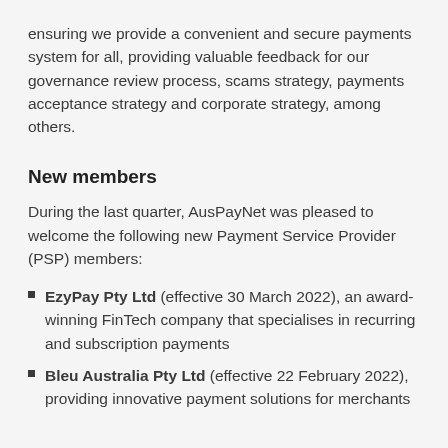ensuring we provide a convenient and secure payments system for all, providing valuable feedback for our governance review process, scams strategy, payments acceptance strategy and corporate strategy, among others.
New members
During the last quarter, AusPayNet was pleased to welcome the following new Payment Service Provider (PSP) members:
EzyPay Pty Ltd (effective 30 March 2022), an award-winning FinTech company that specialises in recurring and subscription payments
Bleu Australia Pty Ltd (effective 22 February 2022), providing innovative payment solutions for merchants